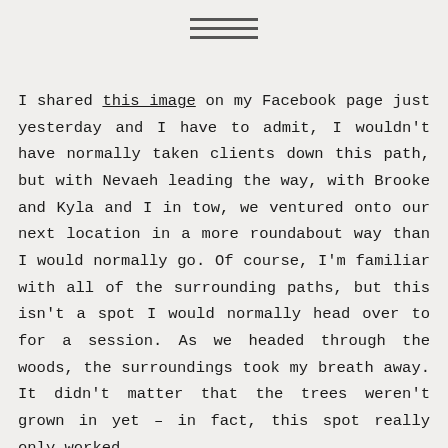[Figure (other): Hamburger menu icon — three horizontal lines centered at top of page]
I shared this image on my Facebook page just yesterday and I have to admit, I wouldn't have normally taken clients down this path, but with Nevaeh leading the way, with Brooke and Kyla and I in tow, we ventured onto our next location in a more roundabout way than I would normally go. Of course, I'm familiar with all of the surrounding paths, but this isn't a spot I would normally head over to for a session. As we headed through the woods, the surroundings took my breath away. It didn't matter that the trees weren't grown in yet – in fact, this spot really only worked